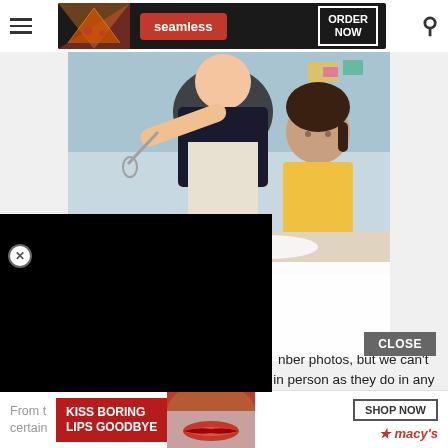[Figure (screenshot): Website screenshot showing a navigation bar with hamburger menu, a Seamless food delivery advertisement banner with pizza image and 'ORDER NOW' button, a cooking photo of mother and daughter, partially obscured article text about kitchen tools, a black redacted block, a close button overlay, article body text about member photos and profiles, a Macy's 'KISS BORING LIPS GOODBYE' advertisement banner at the bottom]
nber photos, but we can't guarantee that members will look the same in person as they do in any photos on their profile.
From t certain
AND KITCHEN EVERYONE LD OWN
KISS BORING LIPS GOODBYE
SHOP NOW
macy's
ORDER NOW
seamless
CLOSE